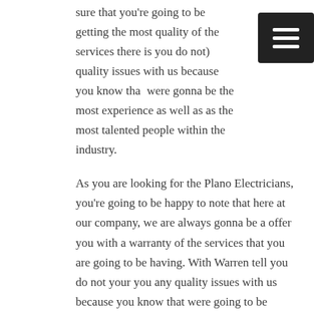sure that you're going to be getting the most quality of the services there is you do not) quality issues with us because you know that were gonna be the most experience as well as as the most talented people within the industry.
[Figure (other): Hamburger menu icon — dark square with three horizontal white lines]
As you are looking for the Plano Electricians, you're going to be happy to note that here at our company, we are always gonna be a offer you with a warranty of the services that you are going to be having. With Warren tell you do not your you any quality issues with us because you know that were going to be trained with everything you're searching for. You have to worry about any pricing issues with us because with the word to you to will not have any